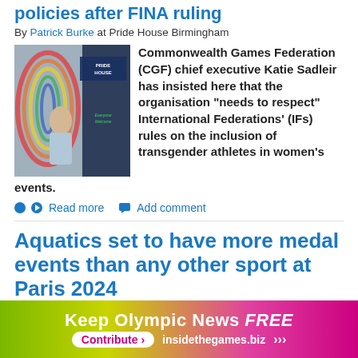policies after FINA ruling
By Patrick Burke at Pride House Birmingham
[Figure (photo): Person standing in front of a Pride House Birmingham banner with rainbow decorations]
Commonwealth Games Federation (CGF) chief executive Katie Sadleir has insisted here that the organisation "needs to respect" International Federations' (IFs) rules on the inclusion of transgender athletes in women's events.
Read more
Add comment
Aquatics set to have more medal events than any other sport at Paris 2024
By Duncan Mackay
[Figure (photo): Olympic rings at an aquatics venue]
A total of 1,392 competitors will take part in the aquatic events at the 2024
Keep Olympic News FREE Contribute > insidethegames.biz >>>